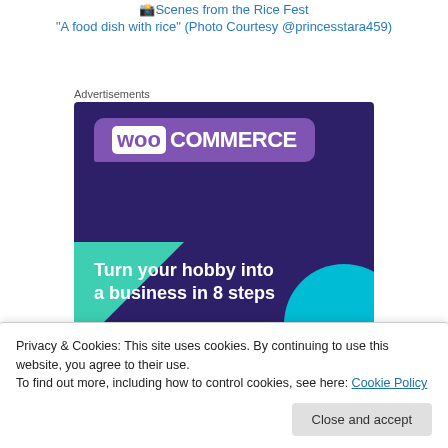Scenes from the Rice Fest
"A food dish with rice" (Photo Courtesy @princesstara459)
Advertisements
[Figure (screenshot): WooCommerce advertisement banner: dark purple background with WooCommerce logo in a speech bubble, green triangle on the left, cyan circle on the bottom right, text reading 'Turn your hobby into a business in 8 steps']
Privacy & Cookies: This site uses cookies. By continuing to use this website, you agree to their use.
To find out more, including how to control cookies, see here: Cookie Policy
Close and accept
Scenes from the Rice Fest